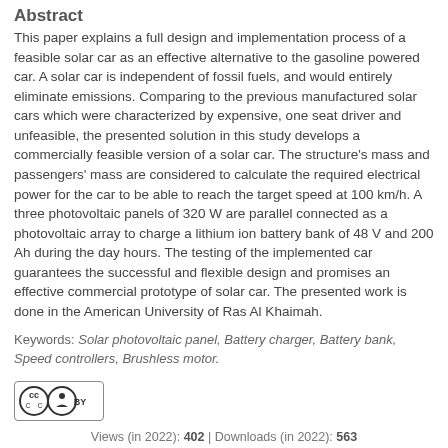Abstract
This paper explains a full design and implementation process of a feasible solar car as an effective alternative to the gasoline powered car. A solar car is independent of fossil fuels, and would entirely eliminate emissions. Comparing to the previous manufactured solar cars which were characterized by expensive, one seat driver and unfeasible, the presented solution in this study develops a commercially feasible version of a solar car. The structure's mass and passengers' mass are considered to calculate the required electrical power for the car to be able to reach the target speed at 100 km/h. A three photovoltaic panels of 320 W are parallel connected as a photovoltaic array to charge a lithium ion battery bank of 48 V and 200 Ah during the day hours. The testing of the implemented car guarantees the successful and flexible design and promises an effective commercial prototype of solar car. The presented work is done in the American University of Ras Al Khaimah.
Keywords: Solar photovoltaic panel, Battery charger, Battery bank, Speed controllers, Brushless motor.
[Figure (logo): Creative Commons Attribution (CC BY) license badge]
Views (in 2022): 402 | Downloads (in 2022): 563